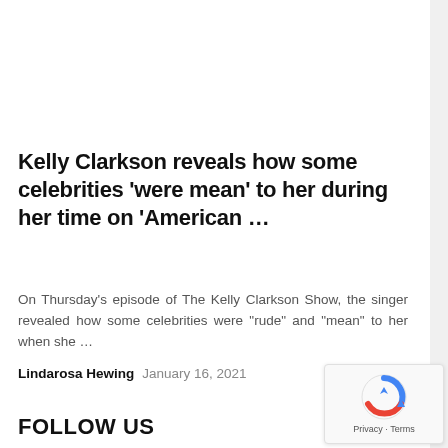Kelly Clarkson reveals how some celebrities ‘were mean’ to her during her time on ‘American …
On Thursday’s episode of The Kelly Clarkson Show, the singer revealed how some celebrities were “rude” and “mean” to her when she …
Lindarosa Hewing   January 16, 2021
FOLLOW US
[Figure (logo): reCAPTCHA logo with Privacy and Terms text]